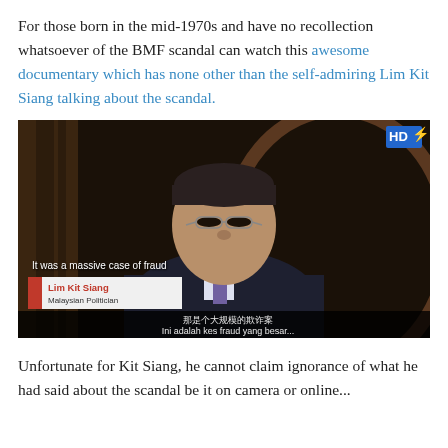For those born in the mid-1970s and have no recollection whatsoever of the BMF scandal can watch this awesome documentary which has none other than the self-admiring Lim Kit Siang talking about the scandal.
[Figure (screenshot): Video screenshot of Lim Kit Siang, labeled as Malaysian Politician, in a documentary. Subtitle reads 'It was a massive case of fraud'. Lower subtitles in Chinese and Malay. HD5 badge in top right corner.]
Unfortunate for Kit Siang, he cannot claim ignorance of what he had said about the scandal be it on camera or online...